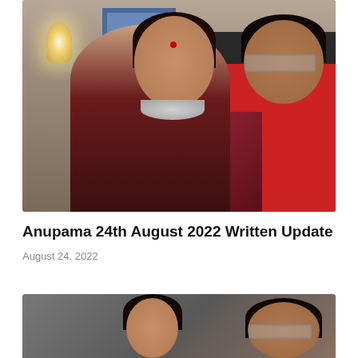[Figure (photo): A woman in a maroon saree with a choker necklace and bindi facing a man in glasses and a red shirt]
Anupama 24th August 2022 Written Update
August 24, 2022
[Figure (photo): Partial view of two people (woman and man with glasses) from a TV show scene]